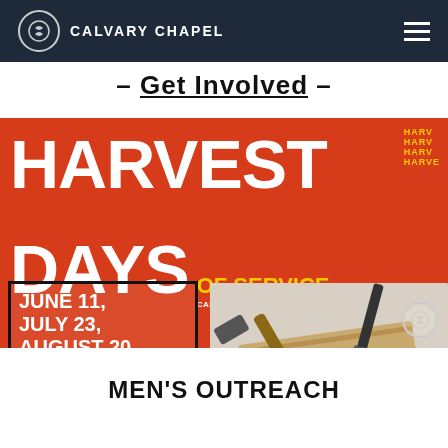CALVARY CHAPEL
– Get Involved –
[Figure (infographic): Harvest Days of Service banner. Red background with large white bold text reading HARVEST DAYS OF SERVICE. Calvary Chapel Word of Life School. Dates: June 11, July 23, August 20. Time: 9 AM - 3 PM. Registration is open for Men's Ministry & Young Adults Ministry Only! Right side shows a photo of tools including a hammer and nails.]
MEN'S OUTREACH